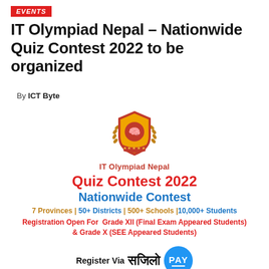EVENTS
IT Olympiad Nepal – Nationwide Quiz Contest 2022 to be organized
By ICT Byte
[Figure (logo): IT Olympiad Nepal shield logo with laurel wreath, brain icon, stars, and red/gold color scheme. Below reads 'IT Olympiad Nepal']
Quiz Contest 2022
Nationwide Contest
7 Provinces | 50+ Districts | 500+ Schools | 10,000+ Students
Registration Open For Grade XII (Final Exam Appeared Students) & Grade X (SEE Appeared Students)
Register Via सजिलो PAY